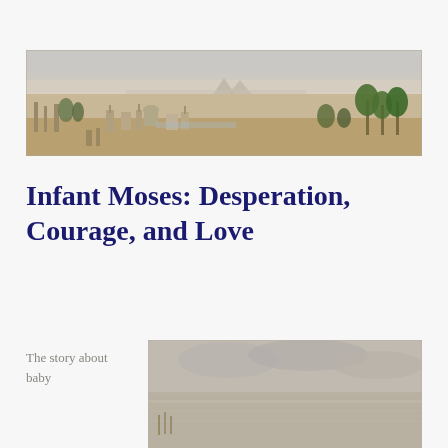[Figure (illustration): Wide panoramic painting of an ancient Egyptian landscape with pyramids in the background, a city with minarets and palm trees in the foreground, and a vast desert plain.]
Infant Moses: Desperation, Courage, and Love
The story about baby
[Figure (illustration): Partial view of another painting, appearing to show a sky and water scene, cropped at the bottom of the page.]